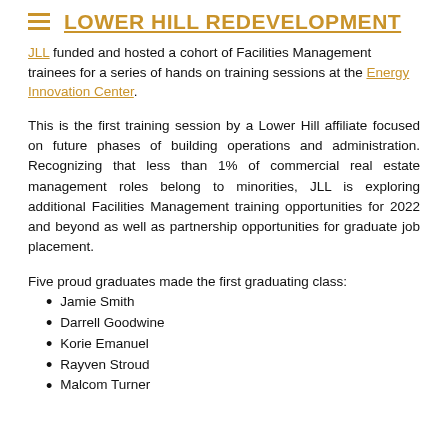LOWER HILL REDEVELOPMENT
... funded and hosted a cohort of Facilities Management trainees for a series of hands on training sessions at the Energy Innovation Center.
This is the first training session by a Lower Hill affiliate focused on future phases of building operations and administration. Recognizing that less than 1% of commercial real estate management roles belong to minorities, JLL is exploring additional Facilities Management training opportunities for 2022 and beyond as well as partnership opportunities for graduate job placement.
Five proud graduates made the first graduating class:
Jamie Smith
Darrell Goodwine
Korie Emanuel
Rayven Stroud
Malcom Turner